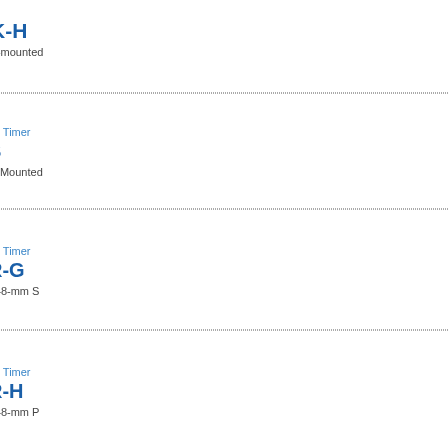[Figure (photo): H3DK-H DIN Track-mounted solid-state timer product photo]
H3DK-H
DIN Track-mounted
[Figure (photo): H3DS Solid-state Timer DIN Track Mounted product photo showing three units]
Solid-state Timer
H3DS
DIN Track Mounted
[Figure (photo): H3CR-G Solid-state Timer DIN 48x48-mm product photo]
Solid-state Timer
H3CR-G
DIN 48 × 48-mm S
[Figure (photo): H3CR-H Solid-state Timer DIN 48x48-mm product photo]
Solid-state Timer
H3CR-H
DIN 48 × 48-mm P
[Figure (photo): H3DKZ 22.5-mm-width Timer product photo]
22.5-mm-width Tim
H3DKZ